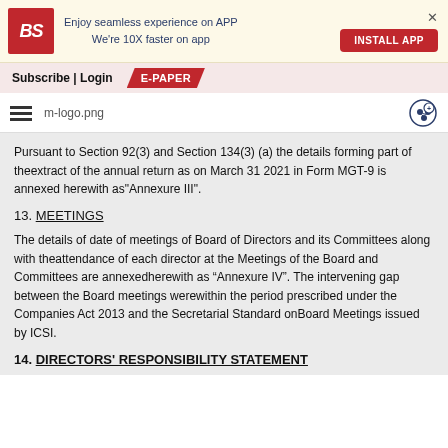Enjoy seamless experience on APP We're 10X faster on app | INSTALL APP
Subscribe | Login | E-PAPER
Pursuant to Section 92(3) and Section 134(3) (a) the details forming part of theextract of the annual return as on March 31 2021 in Form MGT-9 is annexed herewith as"Annexure III".
13. MEETINGS
The details of date of meetings of Board of Directors and its Committees along with theattendance of each director at the Meetings of the Board and Committees are annexedherewith as “Annexure IV”. The intervening gap between the Board meetings werewithin the period prescribed under the Companies Act 2013 and the Secretarial Standard onBoard Meetings issued by ICSI.
14. DIRECTORS' RESPONSIBILITY STATEMENT